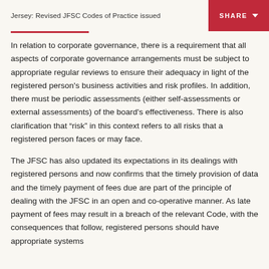Jersey: Revised JFSC Codes of Practice issued
In relation to corporate governance, there is a requirement that all aspects of corporate governance arrangements must be subject to appropriate regular reviews to ensure their adequacy in light of the registered person's business activities and risk profiles. In addition, there must be periodic assessments (either self-assessments or external assessments) of the board's effectiveness. There is also clarification that “risk” in this context refers to all risks that a registered person faces or may face.
The JFSC has also updated its expectations in its dealings with registered persons and now confirms that the timely provision of data and the timely payment of fees due are part of the principle of dealing with the JFSC in an open and co-operative manner. As late payment of fees may result in a breach of the relevant Code, with the consequences that follow, registered persons should have appropriate systems